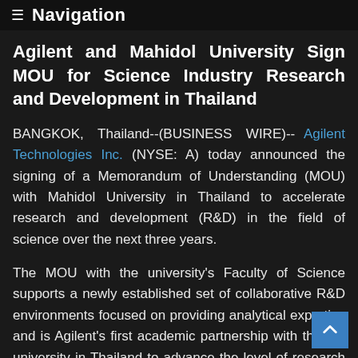≡ Navigation
Agilent and Mahidol University Sign MOU for Science Industry Research and Development in Thailand
BANGKOK, Thailand--(BUSINESS WIRE)-- Agilent Technologies Inc. (NYSE: A) today announced the signing of a Memorandum of Understanding (MOU) with Mahidol University in Thailand to accelerate research and development (R&D) in the field of science over the next three years.
The MOU with the university's Faculty of Science supports a newly established set of collaborative R&D environments focused on providing analytical expertise and is Agilent's first academic partnership with the top university in Thailand to advance the level of research and education.